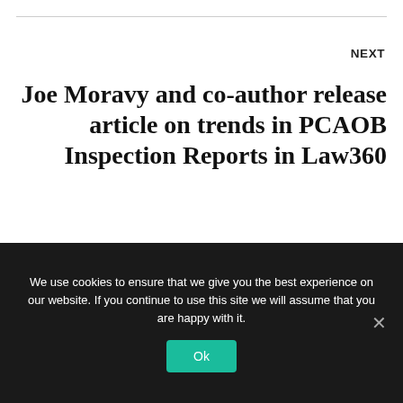NEXT
Joe Moravy and co-author release article on trends in PCAOB Inspection Reports in Law360
We use cookies to ensure that we give you the best experience on our website. If you continue to use this site we will assume that you are happy with it.